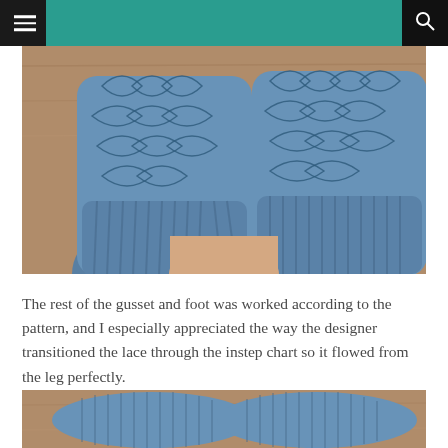[Figure (photo): Close-up photograph of knitted socks with intricate blue lace pattern on the leg, placed heel-to-heel on a wooden surface]
The rest of the gusset and foot was worked according to the pattern, and I especially appreciated the way the designer transitioned the lace through the instep chart so it flowed from the leg perfectly.
[Figure (photo): Partial photograph of knitted socks showing the toe and sole area in blue yarn on a wooden surface]